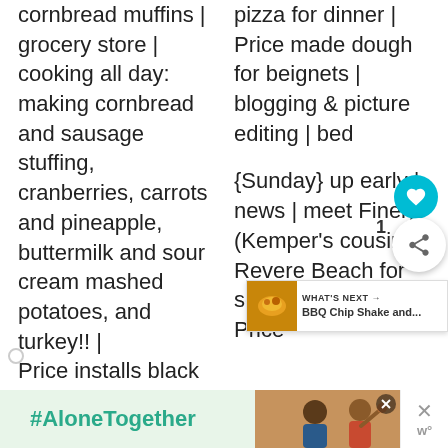cornbread muffins | grocery store | cooking all day: making cornbread and sausage stuffing, cranberries, carrots and pineapple, buttermilk and sour cream mashed potatoes, and turkey!! | Price installs black
pizza for dinner | Price made dough for beignets | blogging & picture editing | bed {Sunday} up early | news | meet Finely (Kemper's cousin) a Revere Beach for some pupp time | Price
[Figure (screenshot): Bottom advertisement banner with #AloneTogether text in teal on light green background, a photo of two people, a close button, and an X close button with 'w°' logo]